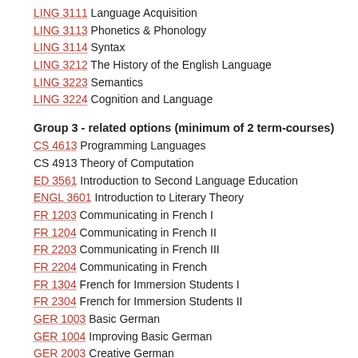LING 3111 Language Acquisition
LING 3113 Phonetics & Phonology
LING 3114 Syntax
LING 3212 The History of the English Language
LING 3223 Semantics
LING 3224 Cognition and Language
Group 3 - related options (minimum of 2 term-courses)
CS 4613 Programming Languages
CS 4913 Theory of Computation
ED 3561 Introduction to Second Language Education
ENGL 3601 Introduction to Literary Theory
FR 1203 Communicating in French I
FR 1204 Communicating in French II
FR 2203 Communicating in French III
FR 2204 Communicating in French
FR 1304 French for Immersion Students I
FR 2304 French for Immersion Students II
GER 1003 Basic German
GER 1004 Improving Basic German
GER 2003 Creative German
GRK 1001 Introductory Ancient Greek I